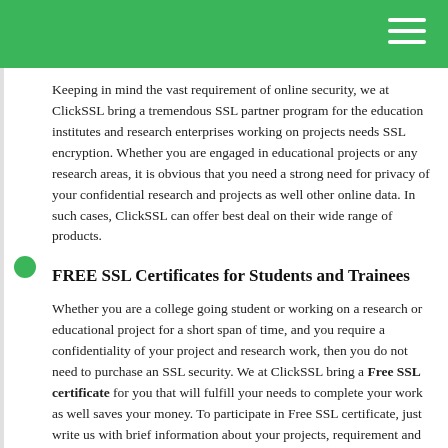Keeping in mind the vast requirement of online security, we at ClickSSL bring a tremendous SSL partner program for the education institutes and research enterprises working on projects needs SSL encryption. Whether you are engaged in educational projects or any research areas, it is obvious that you need a strong need for privacy of your confidential research and projects as well other online data. In such cases, ClickSSL can offer best deal on their wide range of products.
FREE SSL Certificates for Students and Trainees
Whether you are a college going student or working on a research or educational project for a short span of time, and you require a confidentiality of your project and research work, then you do not need to purchase an SSL security. We at ClickSSL bring a Free SSL certificate for you that will fulfill your needs to complete your work as well saves your money. To participate in Free SSL certificate, just write us with brief information about your projects, requirement and information about your